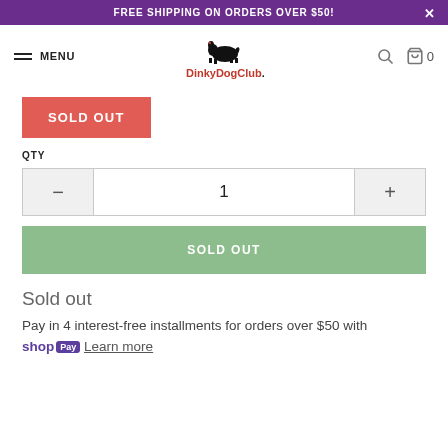FREE SHIPPING ON ORDERS OVER $50!
MENU | DinkyDogClub
SOLD OUT
QTY
1
SOLD OUT
Sold out
Pay in 4 interest-free installments for orders over $50 with shop Pay Learn more